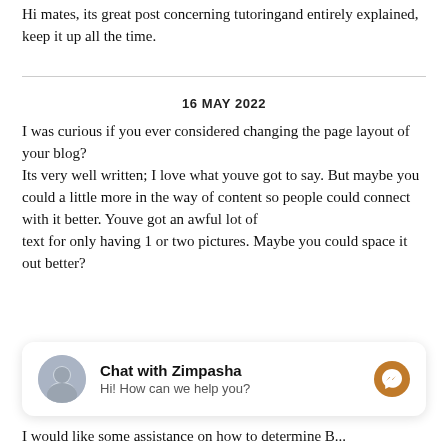Hi mates, its great post concerning tutoringand entirely explained, keep it up all the time.
16 MAY 2022
I was curious if you ever considered changing the page layout of your blog?
Its very well written; I love what youve got to say. But maybe you could a little more in the way of content so people could connect with it better. Youve got an awful lot of text for only having 1 or two pictures. Maybe you could space it out better?
[Figure (other): Chat widget: avatar photo of a person, text 'Chat with Zimpasha' and 'Hi! How can we help you?', with a messenger icon button on the right]
I would like some assistance on how to determine B...